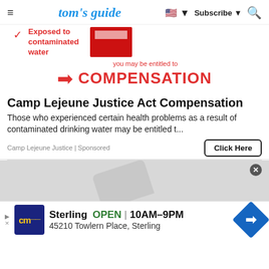tom's guide | Subscribe | Search
[Figure (advertisement): Ad showing checkmark with 'Exposed to contaminated water' text and a red envelope image, followed by arrow pointing to 'you may be entitled to COMPENSATION' in red text]
Camp Lejeune Justice Act Compensation
Those who experienced certain health problems as a result of contaminated drinking water may be entitled t...
Camp Lejeune Justice | Sponsored
Click Here
[Figure (photo): Partial image of a device (laptop/tablet) on a gray background, with a circular close button overlay]
Sterling OPEN 10AM–9PM 45210 Towlern Place, Sterling